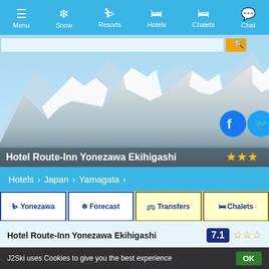Menu | Snow | Resorts | Hotels | Chalets | Chat
[Figure (screenshot): Hero banner with snowy mountain landscape background, social media Facebook and Twitter buttons, and hotel name overlay: Hotel Route-Inn Yonezawa Ekihigashi with 3 gold stars]
Hotels > Japan > Yamagata
Yonezawa | Forecast | Transfers | Chalets (tab buttons)
Hotel Route-Inn Yonezawa Ekihigashi  7.1  ☆☆☆
Gallery
[Figure (photo): Photo of Japanese breakfast food with orange juice, salad, soup bowl]
[Figure (photo): Photo of someone holding a mobile device showing a survey question]
J2Ski uses Cookies to give you the best experience  OK